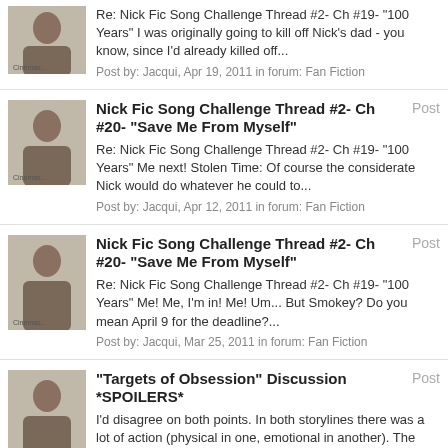Re: Nick Fic Song Challenge Thread #2- Ch #19- "100 Years" I was originally going to kill off Nick's dad - you know, since I'd already killed off...
Post by: Jacqui, Apr 19, 2011 in forum: Fan Fiction
Nick Fic Song Challenge Thread #2- Ch #20- "Save Me From Myself"
Re: Nick Fic Song Challenge Thread #2- Ch #19- "100 Years" Me next! Stolen Time: Of course the considerate Nick would do whatever he could to...
Post by: Jacqui, Apr 12, 2011 in forum: Fan Fiction
Nick Fic Song Challenge Thread #2- Ch #20- "Save Me From Myself"
Re: Nick Fic Song Challenge Thread #2- Ch #19- "100 Years" Me! Me, I'm in! Me! Um... But Smokey? Do you mean April 9 for the deadline?...
Post by: Jacqui, Mar 25, 2011 in forum: Fan Fiction
"Targets of Obsession" Discussion *SPOILERS*
I'd disagree on both points. In both storylines there was a lot of action (physical in one, emotional in another). The episode wraps up the...
Post by: Jacqui, Feb 18, 2011 in forum: CSI: Crime Scene